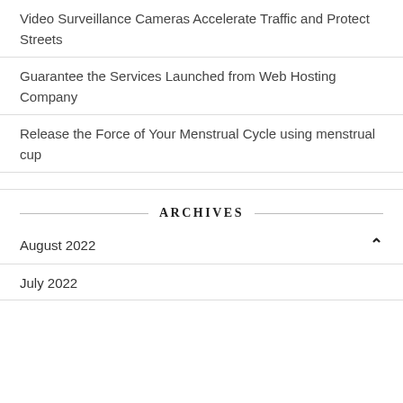Video Surveillance Cameras Accelerate Traffic and Protect Streets
Guarantee the Services Launched from Web Hosting Company
Release the Force of Your Menstrual Cycle using menstrual cup
ARCHIVES
August 2022
July 2022